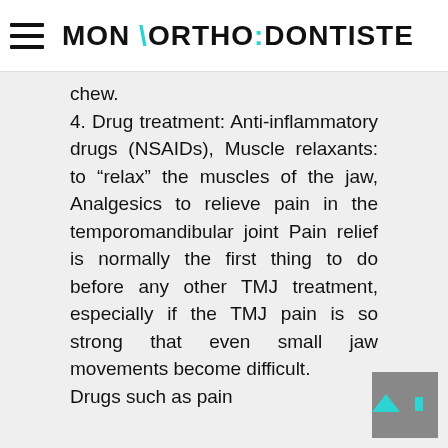MON \ORTHO:DONTISTE
chew.
4. Drug treatment: Anti-inflammatory drugs (NSAIDs), Muscle relaxants: to “relax” the muscles of the jaw, Analgesics to relieve pain in the temporomandibular joint Pain relief is normally the first thing to do before any other TMJ treatment, especially if the TMJ pain is so strong that even small jaw movements become difficult.
Drugs such as pain